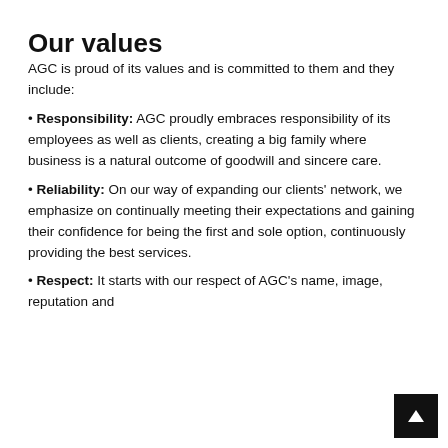Our values
AGC is proud of its values and is committed to them and they include:
• Responsibility: AGC proudly embraces responsibility of its employees as well as clients, creating a big family where business is a natural outcome of goodwill and sincere care.
• Reliability: On our way of expanding our clients' network, we emphasize on continually meeting their expectations and gaining their confidence for being the first and sole option, continuously providing the best services.
• Respect: It starts with our respect of AGC's name, image, reputation and